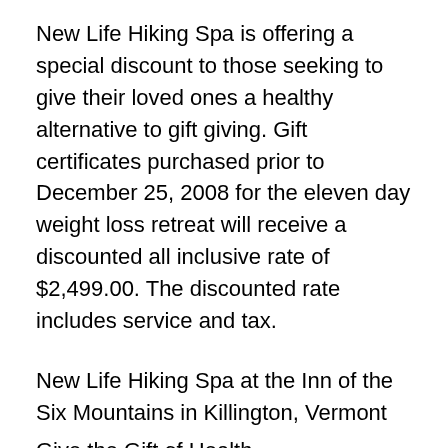New Life Hiking Spa is offering a special discount to those seeking to give their loved ones a healthy alternative to gift giving. Gift certificates purchased prior to December 25, 2008 for the eleven day weight loss retreat will receive a discounted all inclusive rate of $2,499.00. The discounted rate includes service and tax.
New Life Hiking Spa at the Inn of the Six Mountains in Killington, Vermont
Give the Gift of Health
one of the top 10 destinations in the world to get in shape
one of 8 places to take a vacation and lose weight
one of the eight best weight loss spas
one of four great weight loss spas
New Life has been open each spring through fall in Vermont for over thirty years. The 2009 dates are May 14 through September 27. New Life Hiking Spa was chosen as...